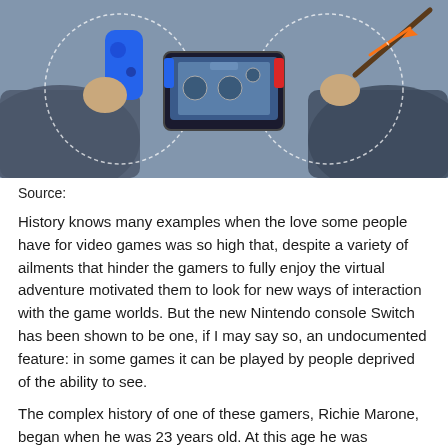[Figure (photo): Photo showing two people holding Nintendo Switch Joy-Con controllers from either side, with the Nintendo Switch console screen visible in the center. The background is a muted blue-grey. Dashed circular lines and orange arrows appear around the controllers, suggesting motion or connectivity. Left person holds a blue Joy-Con, right person holds a red Joy-Con attached to a wand.]
Source:
History knows many examples when the love some people have for video games was so high that, despite a variety of ailments that hinder the gamers to fully enjoy the virtual adventure motivated them to look for new ways of interaction with the game worlds. But the new Nintendo console Switch has been shown to be one, if I may say so, an undocumented feature: in some games it can be played by people deprived of the ability to see.
The complex history of one of these gamers, Richie Marone, began when he was 23 years old. At this age he was diagnosed with "diabetic retinopathy" as a complication of diabetes mellitus type 1. Diabetic retinopathy is developing, can cause deterioration and loss of vision that happened to a young guy. Despite this,